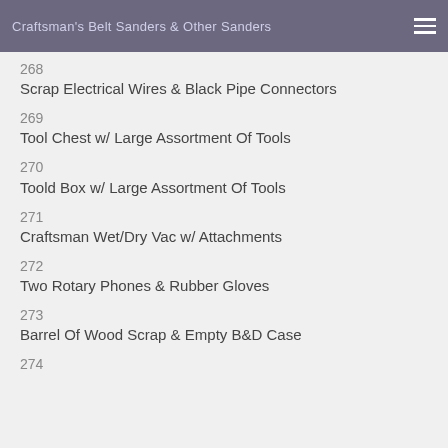Craftsman's Belt Sanders & Other Sanders
268
Scrap Electrical Wires & Black Pipe Connectors
269
Tool Chest w/ Large Assortment Of Tools
270
Toold Box w/ Large Assortment Of Tools
271
Craftsman Wet/Dry Vac w/ Attachments
272
Two Rotary Phones & Rubber Gloves
273
Barrel Of Wood Scrap & Empty B&D Case
274